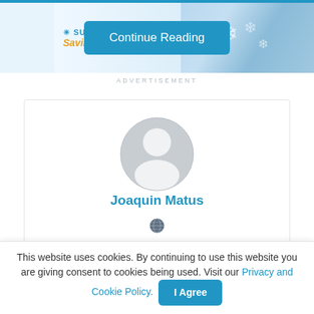[Figure (screenshot): Sun Community Savings banner advertisement with blue background and holiday theme]
ADVERTISEMENT
[Figure (illustration): Generic user profile avatar – grey circular silhouette with head and shoulders]
Joaquin Matus
[Figure (illustration): Small globe/world icon below the name]
This website uses cookies. By continuing to use this website you are giving consent to cookies being used. Visit our Privacy and Cookie Policy.